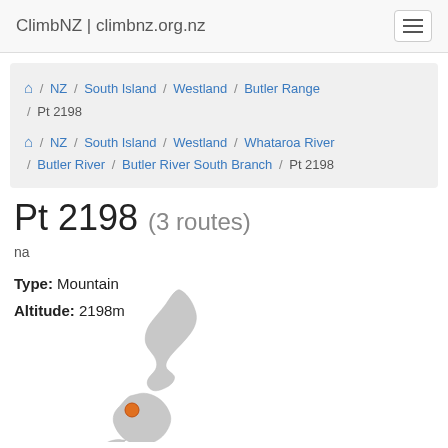ClimbNZ | climbnz.org.nz
🏠 / NZ / South Island / Westland / Butler Range / Pt 2198
🏠 / NZ / South Island / Westland / Whataroa River / Butler River / Butler River South Branch / Pt 2198
Pt 2198 (3 routes)
na
Type: Mountain
Altitude: 2198m
[Figure (map): Map of New Zealand (North and South Islands in grey) with an orange dot marker indicating Pt 2198 location on the South Island, west coast area near center of island.]